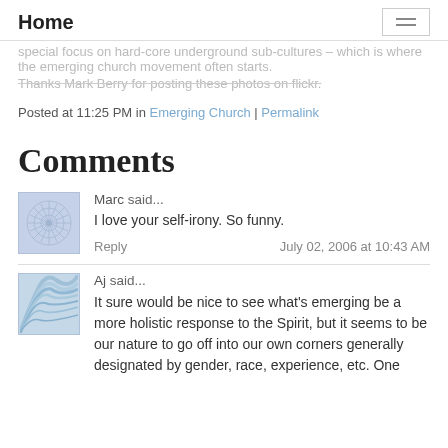special focus on hard-core underground sub-cultures – which is where the emerging church movement often starts.
Home
Thanks Mark Berry for posting these photos on flickr.
Posted at 11:25 PM in Emerging Church | Permalink
Comments
Marc said... I love your self-irony. So funny.
Reply | July 02, 2006 at 10:43 AM
Aj said... It sure would be nice to see what's emerging be a more holistic response to the Spirit, but it seems to be our nature to go off into our own corners generally designated by gender, race, experience, etc. One